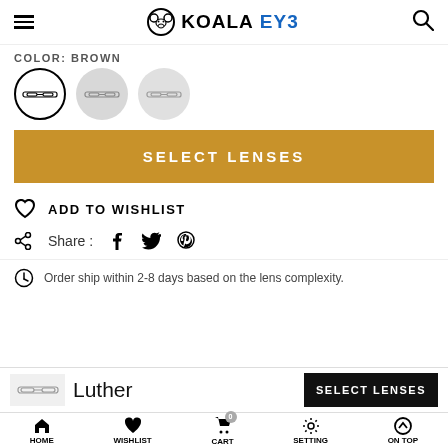KOALAEYE
COLOR: BROWN
[Figure (illustration): Three color swatch circles each containing a glasses/eyeglass frame icon. First swatch is selected (black border), second and third are plain grey circles.]
SELECT LENSES
ADD TO WISHLIST
Share :
Order ship within 2-8 days based on the lens complexity.
Luther
SELECT LENSES
HOME  WISHLIST  CART  SETTING  ON TOP